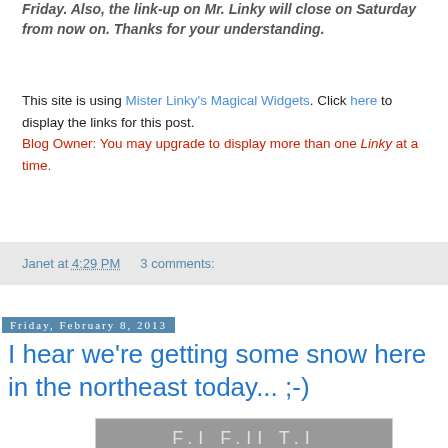Friday. Also, the link-up on Mr. Linky will close on Saturday from now on. Thanks for your understanding.
This site is using Mister Linky's Magical Widgets. Click here to display the links for this post. Blog Owner: You may upgrade to display more than one Linky at a time.
Janet at 4:29 PM   3 comments:
Friday, February 8, 2013
I hear we're getting some snow here in the northeast today... ;-)
[Figure (photo): Partially visible snowy scene photo at bottom of page]